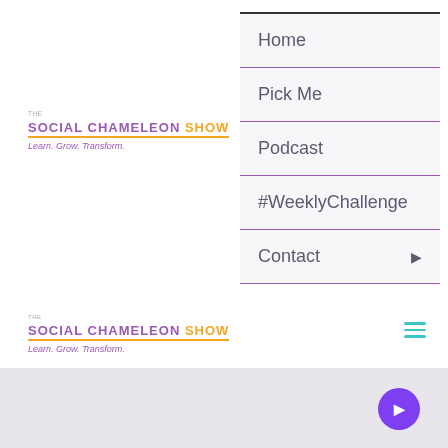[Figure (logo): The Social Chameleon Show logo with tagline Learn. Grow. Transform. (top instance)]
Home
Pick Me
Podcast
#WeeklyChallenge
Contact
[Figure (logo): The Social Chameleon Show logo with tagline Learn. Grow. Transform. (bottom header instance)]
[Figure (other): Hamburger menu icon (three horizontal lines in teal)]
[Figure (other): Purple circular button with icon in gray footer area]